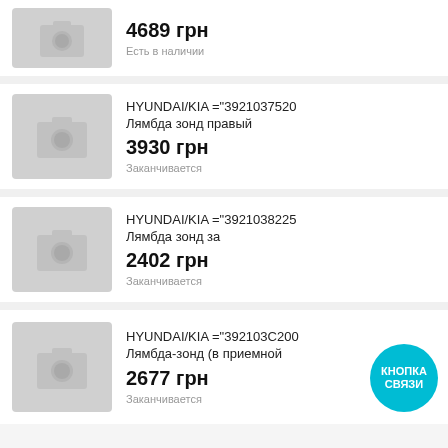[Figure (photo): Placeholder product image (camera icon on grey background)]
4689 грн
Есть в наличии
[Figure (photo): Placeholder product image (camera icon on grey background)]
HYUNDAI/KIA ="3921037520 Лямбда зонд правый
3930 грн
Заканчивается
[Figure (photo): Placeholder product image (camera icon on grey background)]
HYUNDAI/KIA ="3921038225 Лямбда зонд за
2402 грн
Заканчивается
[Figure (photo): Placeholder product image (camera icon on grey background)]
HYUNDAI/KIA ="392103C200 Лямбда-зонд (в приемной
2677 грн
Заканчивается
КНОПКА СВЯЗИ